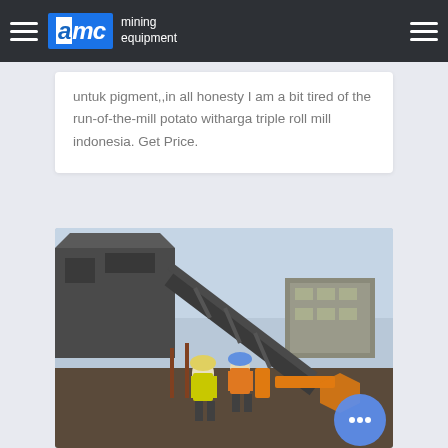AMC mining equipment
untuk pigment,,in all honesty I am a bit tired of the run-of-the-mill potato witharga triple roll mill indonesia. Get Price.
[Figure (photo): Mining equipment site with workers in hi-vis vests and hard hats inspecting large industrial machinery including a conveyor belt system. A building is visible in the background.]